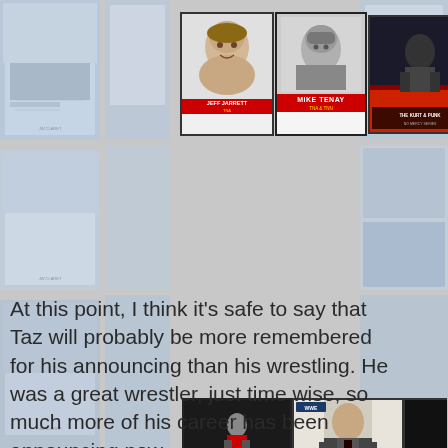[Figure (photo): Collage page showing multiple sports and wrestling trading cards as background, with foreground trading cards including Mike Tenay (TNA), a black and white childhood photo card (Jeff Jarrett), an action wrestling card, and background hockey/baseball cards. Middle section has text quote. Bottom section shows WWE wrestling cards including a wrestler in the ring (Raw), Scott Stanford, William Regal (WWE Superstar), plus NXT and championship cards.]
At this point, I think it's safe to say that Taz will probably be more remembered for his announcing than his wrestling. He was a great wrestler, just time wise, so much more of his career has been announcing now.